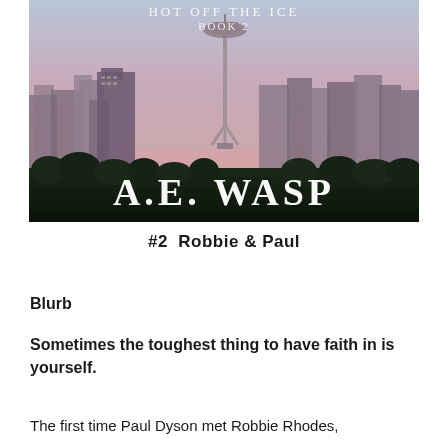[Figure (illustration): Book cover for 'Hot Off The Ice Book 2' by A.E. Wasp. Shows Seattle skyline with Space Needle at dusk/dawn with purple-pink sky, author name in large white serif letters at bottom.]
#2  Robbie & Paul
Blurb
Sometimes the toughest thing to have faith in is yourself.
The first time Paul Dyson met Robbie Rhodes,